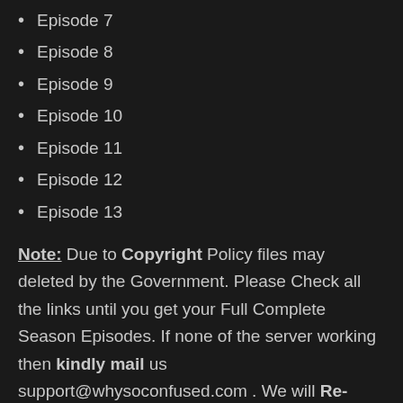Episode 7
Episode 8
Episode 9
Episode 10
Episode 11
Episode 12
Episode 13
Note: Due to Copyright Policy files may deleted by the Government. Please Check all the links until you get your Full Complete Season Episodes. If none of the server working then kindly mail us support@whysoconfused.com . We will Re-Upload the episodes as soon as possible. Check after 2-3 days of mailing, Thank You